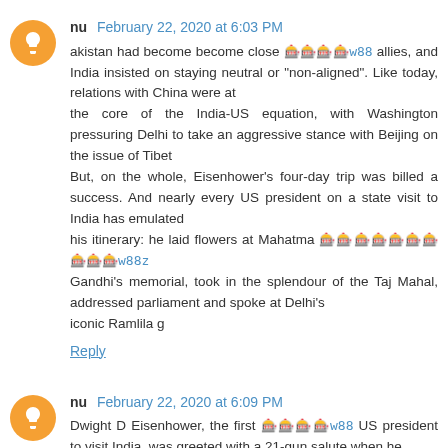nu February 22, 2020 at 6:03 PM
akistan had become become close 🎰🎰🎰🎰w88 allies, and India insisted on staying neutral or "non-aligned". Like today, relations with China were at the core of the India-US equation, with Washington pressuring Delhi to take an aggressive stance with Beijing on the issue of Tibet But, on the whole, Eisenhower's four-day trip was billed a success. And nearly every US president on a state visit to India has emulated his itinerary: he laid flowers at Mahatma 🎰🎰🎰🎰🎰🎰🎰🎰🎰🎰w88z Gandhi's memorial, took in the splendour of the Taj Mahal, addressed parliament and spoke at Delhi's iconic Ramlila g
Reply
nu February 22, 2020 at 6:09 PM
Dwight D Eisenhower, the first 🎰🎰🎰🎰w88 US president to visit India, was greeted with a 21-gun salute when he